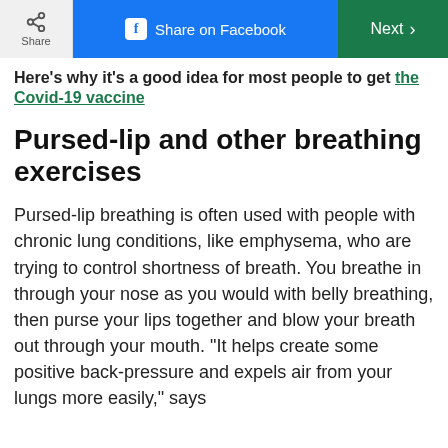Share | Share on Facebook | Next
Here's why it's a good idea for most people to get the Covid-19 vaccine
Pursed-lip and other breathing exercises
Pursed-lip breathing is often used with people with chronic lung conditions, like emphysema, who are trying to control shortness of breath. You breathe in through your nose as you would with belly breathing, then purse your lips together and blow your breath out through your mouth. “It helps create some positive back-pressure and expels air from your lungs more easily,” says